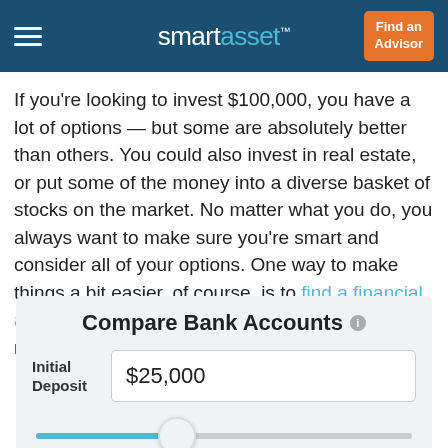smartasset | Find an Advisor
If you’re looking to invest $100,000, you have a lot of options — but some are absolutely better than others. You could also invest in real estate, or put some of the money into a diverse basket of stocks on the market. No matter what you do, you always want to make sure you’re smart and consider all of your options. One way to make things a bit easier, of course, is to find a financial advisor to help you invest your $100,000 (and to manage the money as it grows.)
Compare Bank Accounts
Initial Deposit: $25,000